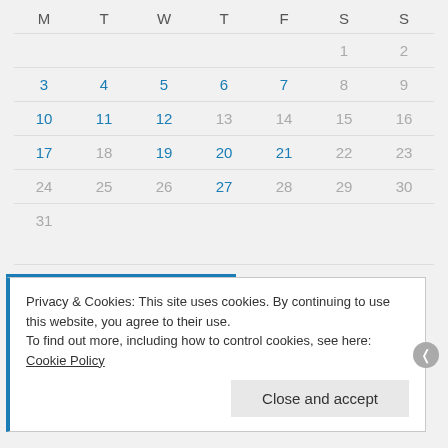| M | T | W | T | F | S | S |
| --- | --- | --- | --- | --- | --- | --- |
|  |  |  |  |  | 1 | 2 |
| 3 | 4 | 5 | 6 | 7 | 8 | 9 |
| 10 | 11 | 12 | 13 | 14 | 15 | 16 |
| 17 | 18 | 19 | 20 | 21 | 22 | 23 |
| 24 | 25 | 26 | 27 | 28 | 29 | 30 |
| 31 |  |  |  |  |  |  |
« Nov   Jan »
Privacy & Cookies: This site uses cookies. By continuing to use this website, you agree to their use. To find out more, including how to control cookies, see here: Cookie Policy